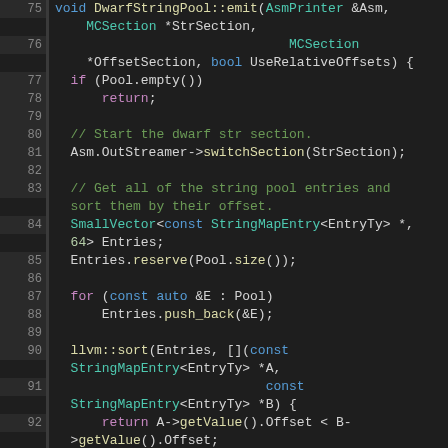[Figure (screenshot): Source code listing showing C++ function DwarfStringPool::emit with syntax highlighting. Lines 75-99 visible. Dark theme code editor. Keywords in blue/purple, types in teal, comments in green, strings in orange, function names in yellow.]